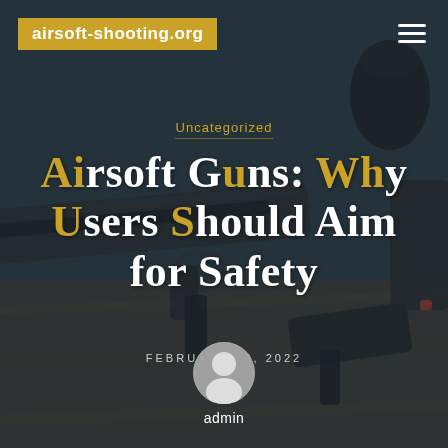[Figure (photo): Background photo of airsoft guns and tactical equipment laid on a wooden surface, with dark blue-gray overlay]
airsoft-shooting.org
Uncategorized
Airsoft Guns: Why Users Should Aim for Safety
FEBRUARY 14, 2022
admin